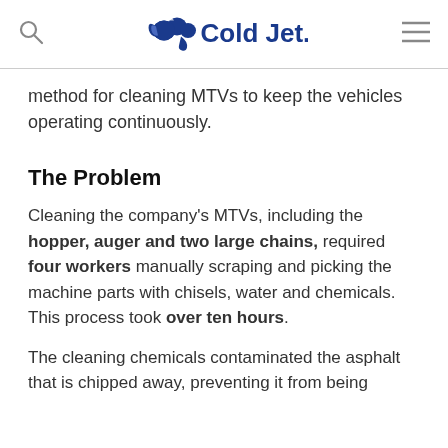Cold Jet
method for cleaning MTVs to keep the vehicles operating continuously.
The Problem
Cleaning the company's MTVs, including the hopper, auger and two large chains, required four workers manually scraping and picking the machine parts with chisels, water and chemicals. This process took over ten hours.
The cleaning chemicals contaminated the asphalt that is chipped away, preventing it from being